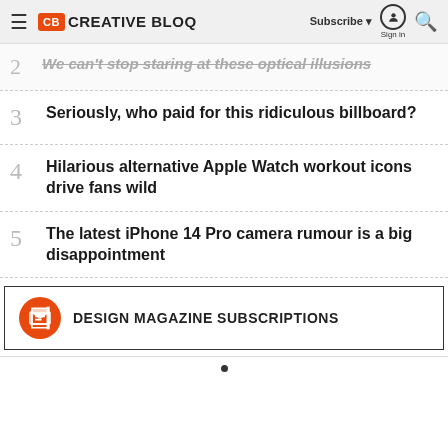Creative Bloq — Subscribe | Sign in | Search
2  We can't stop staring at these optical illusions
3  Seriously, who paid for this ridiculous billboard?
4  Hilarious alternative Apple Watch workout icons drive fans wild
5  The latest iPhone 14 Pro camera rumour is a big disappointment
DESIGN MAGAZINE SUBSCRIPTIONS